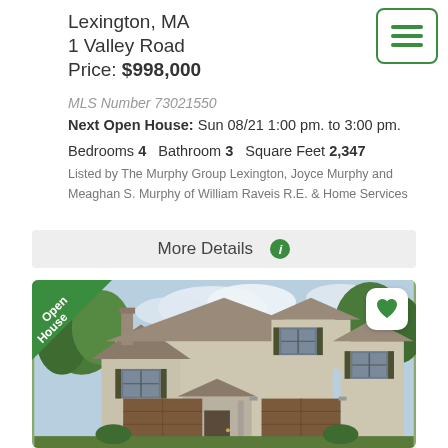Lexington, MA
1 Valley Road
Price: $998,000
MLS Number 73021550
Next Open House: Sun 08/21 1:00 pm. to 3:00 pm.
Bedrooms 4   Bathroom 3   Square Feet 2,347
Listed by The Murphy Group Lexington, Joyce Murphy and Meaghan S. Murphy of William Raveis R.E. & Home Services
More Details
[Figure (photo): Exterior photo of a two-story colonial-style house with tan/beige siding, dark shutters, two-car garage with brown wooden doors, green trees in background. Has an Open House diagonal banner in the top-left corner and a heart/favorite button in the top-right corner.]